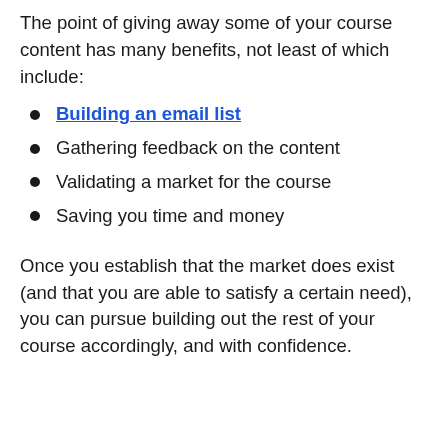The point of giving away some of your course content has many benefits, not least of which include:
Building an email list
Gathering feedback on the content
Validating a market for the course
Saving you time and money
Once you establish that the market does exist (and that you are able to satisfy a certain need), you can pursue building out the rest of your course accordingly, and with confidence.